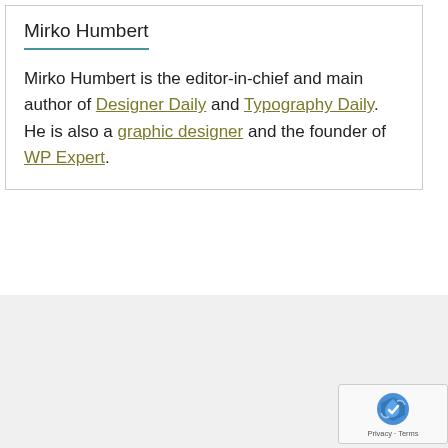Mirko Humbert
Mirko Humbert is the editor-in-chief and main author of Designer Daily and Typography Daily. He is also a graphic designer and the founder of WP Expert.
[Figure (photo): Three black beetle illustrations (longhorn beetles) shown side by side on a light grey background]
[Figure (other): Google reCAPTCHA widget with Privacy and Terms text]